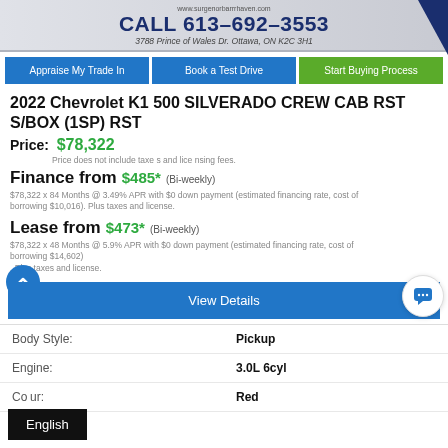[Figure (screenshot): Dealership header banner with phone number CALL 613-692-3553 and address 3788 Prince of Wales Dr. Ottawa, ON K2C 3H1]
Appraise My Trade In | Book a Test Drive | Start Buying Process
2022 Chevrolet K1 500 SILVERADO CREW CAB RST S/BOX (1SP) RST
Price: $78,322
Price does not include taxes and licensing fees.
Finance from $485* (Bi-weekly)
$78,322 x 84 Months @ 3.49% APR with $0 down payment (estimated financing rate, cost of borrowing $10,016). Plus taxes and license.
Lease from $473* (Bi-weekly)
$78,322 x 48 Months @ 5.9% APR with $0 down payment (estimated financing rate, cost of borrowing $14,602). Plus taxes and license.
View Details
|  |  |
| --- | --- |
| Body Style: | Pickup |
| Engine: | 3.0L 6cyl |
| Colour: | Red |
English